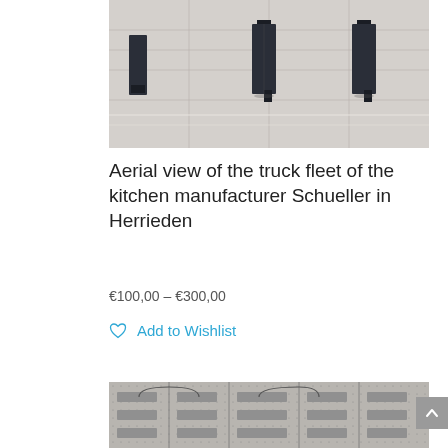[Figure (photo): Aerial view of truck fleet, showing large trucks/vehicles from above on a grey surface with grid lines]
Aerial view of the truck fleet of the kitchen manufacturer Schueller in Herrieden
€100,00 – €300,00
Add to Wishlist
[Figure (photo): Aerial or top-down view of an industrial floor or circuit board-like surface with rows of equipment/components]